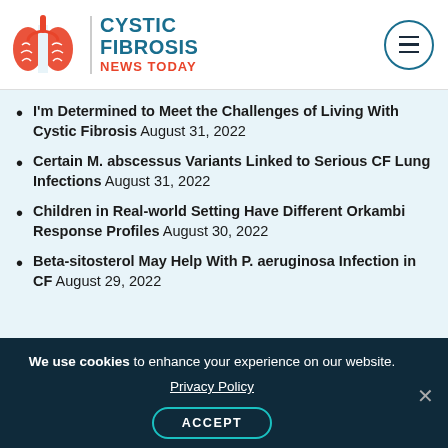CYSTIC FIBROSIS NEWS TODAY
I'm Determined to Meet the Challenges of Living With Cystic Fibrosis August 31, 2022
Certain M. abscessus Variants Linked to Serious CF Lung Infections August 31, 2022
Children in Real-world Setting Have Different Orkambi Response Profiles August 30, 2022
Beta-sitosterol May Help With P. aeruginosa Infection in CF August 29, 2022
We use cookies to enhance your experience on our website. Privacy Policy ACCEPT